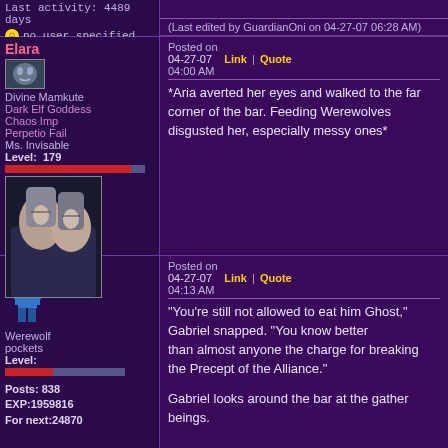Last activity: 4489 days
no user specified
(Last edited by GuardianOni on 04-27-07 06:28 AM)
Elara
Posted on 04-27-07  Link | Quote  04:00 AM
*Aria averted her eyes and walked to the far corner of the bar. Feeding Werewolves disgusted her, especially messy ones*
Divine Mamkute
Dark Elf Goddess
Chaos Imp
Perpetio Fail
Ms. Invisable
Level: 179
Posts:4351/9719
EXP:77796837
For next:
Since: 08-15-04
From: Ferelden
Since last post: 72 days
Last activity: 36 days
no user specified
Pockets
Posted on 04-27-07  Link | Quote  04:13 AM
"You're still not allowed to eat him Ghost," Gabriel snapped. "You know better
than almost anyone the charge for breaking the Precept of the Alliance."
Gabriel looks around the bar at the gather beings.
Werewolf
pockets
Level:
Posts: 838
EXP:1959816
For next:24870